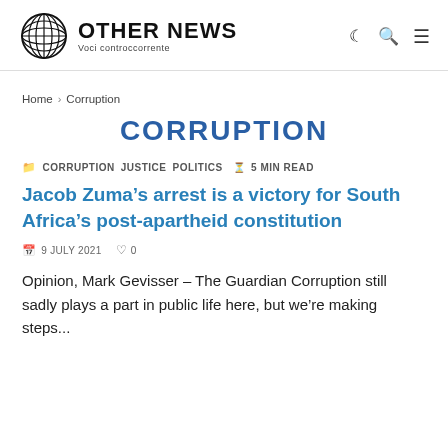OTHER NEWS Voci controccorrente
Home > Corruption
CORRUPTION
CORRUPTION  JUSTICE  POLITICS  5 MIN READ
Jacob Zuma’s arrest is a victory for South Africa’s post-apartheid constitution
9 JULY 2021  0
Opinion, Mark Gevisser – The Guardian Corruption still sadly plays a part in public life here, but we’re making steps...